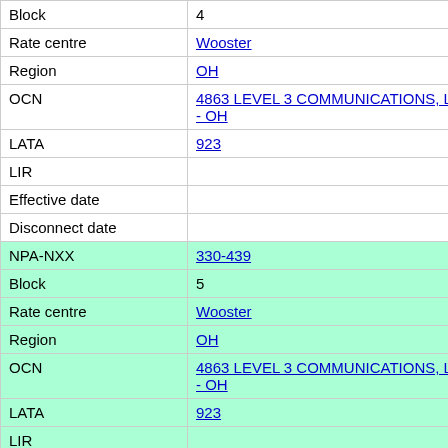| Field | Value |
| --- | --- |
| Block | 4 |
| Rate centre | Wooster |
| Region | OH |
| OCN | 4863 LEVEL 3 COMMUNICATIONS, LLC - OH |
| LATA | 923 |
| LIR |  |
| Effective date |  |
| Disconnect date |  |
| NPA-NXX | 330-439 |
| Block | 5 |
| Rate centre | Wooster |
| Region | OH |
| OCN | 4863 LEVEL 3 COMMUNICATIONS, LLC - OH |
| LATA | 923 |
| LIR |  |
| Effective date | 2011-03-26 |
| Disconnect date |  |
| NPA-NXX | 330-439 |
| Block | 6 |
| Rate centre | Wooster |